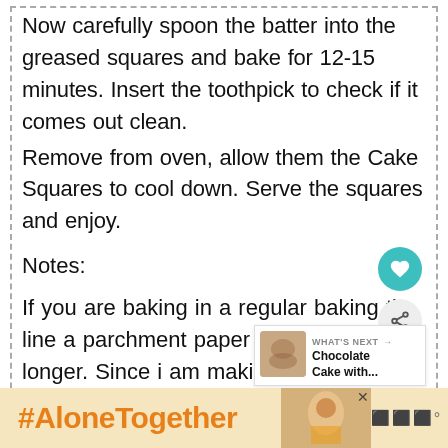Now carefully spoon the batter into the greased squares and bake for 12-15 minutes. Insert the toothpick to check if it comes out clean.
Remove from oven, allow them the Cake Squares to cool down. Serve the squares and enjoy.
Notes:
If you are baking in a regular baking tin, line a parchment paper . Also, bake longer. Since i am making indivisual portions, baking time is a lot lesser.
#AloneTogether